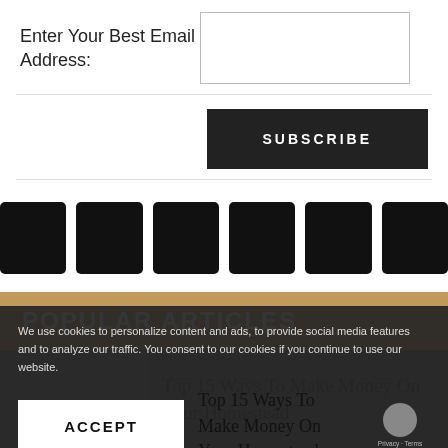Enter Your Best Email Address:
SUBSCRIBE
[Figure (infographic): Six dark square social media icon buttons in a row]
POPULAR ARTICLES
Top 15 Ways To Make Money On Your Homestead
We use cookies to personalize content and ads, to provide social media features and to analyze our traffic. You consent to our cookies if you continue to use our website.
ACCEPT